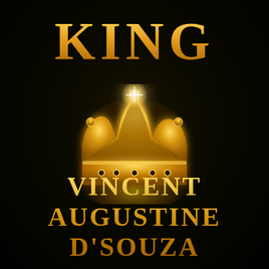KING
[Figure (illustration): A glowing golden royal crown with ornate details, jewels, and a bright sparkle/light effect at the top center, set against a dark black background with a warm golden glow radiating beneath it.]
VINCENT AUGUSTINE D'SOUZA